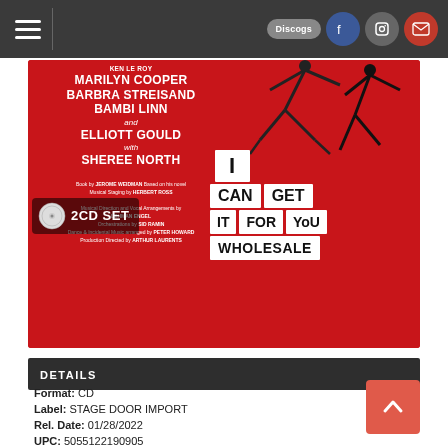Navigation bar with hamburger menu and social icons (Discogs, Facebook, Instagram, Mail)
[Figure (photo): Album cover for 'I Can Get It For You Wholesale' 2CD Set. Red background with cast names: Marilyn Cooper, Barbra Streisand, Bambi Linn, Elliott Gould, Sheree North. Credits include book by Jerome Weidman, Musical Staging by Herbert Ross, Musical Direction and Vocal Arrangements by Lehman Engel, Orchestrations by Sid Ramin, Dance & Incidental Music arranged by Peter Howard, Production Directed by Arthur Laurents. Large title text in white boxes: I CAN GET IT FOR YOU WHOLESALE. 2CD SET badge in lower left.]
DETAILS
Format: CD
Label: STAGE DOOR IMPORT
Rel. Date: 01/28/2022
UPC: 5055122190905